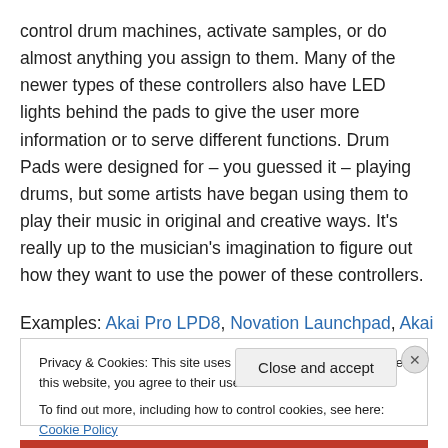control drum machines, activate samples, or do almost anything you assign to them. Many of the newer types of these controllers also have LED lights behind the pads to give the user more information or to serve different functions. Drum Pads were designed for – you guessed it – playing drums, but some artists have began using them to play their music in original and creative ways. It's really up to the musician's imagination to figure out how they want to use the power of these controllers.
Examples: Akai Pro LPD8, Novation Launchpad, Akai
Privacy & Cookies: This site uses cookies. By continuing to use this website, you agree to their use.
To find out more, including how to control cookies, see here: Cookie Policy